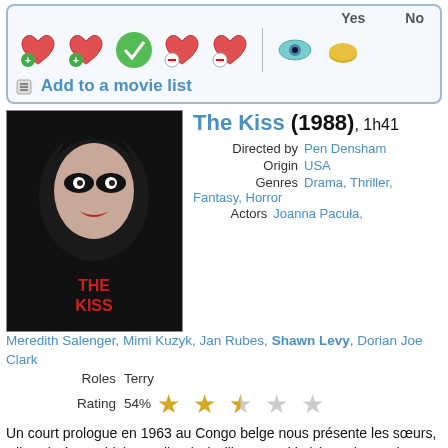[Figure (screenshot): Top UI widget row with heart/check icons and Yes/No eye/pill buttons, plus Add to a movie list link]
The Kiss (1988), 1h41
[Figure (photo): Movie poster for The Kiss (1988) showing a woman's face with gothic makeup]
Directed by Pen Densham
Origin USA
Genres Drama, Thriller, Fantasy, Horror
Actors Joanna Pacuła, Meredith Salenger, Mimi Kuzyk, Jan Rubes, Shawn Levy, Dorian Joe Clark
Roles Terry
Rating 54%
Un court prologue en 1963 au Congo belge nous présente les sœurs, Hilary (Talya Rubin) et Felice (Priscilla Mouzakiotis) Dunbar, qui seront séparées durant leur enfance. Felice est renvoyée dans un train avec sa tante qui possède un totem maudit ressemblant à un serpent. En route vers l'Europe, sa tante